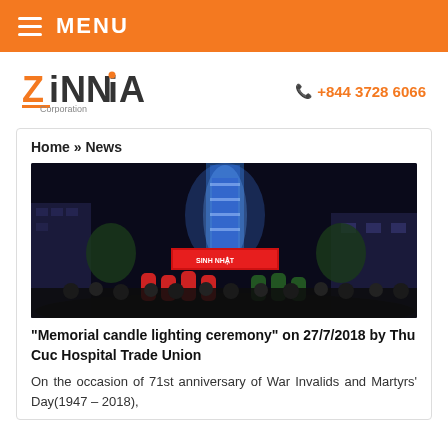MENU
[Figure (logo): Zinnia Corporation logo in orange and dark grey]
+844 3728 6066
Home » News
[Figure (photo): Night crowd gathered at a memorial ceremony with an illuminated tower/monument lit in blue, with people in red and green uniforms gathered around it]
“Memorial candle lighting ceremony” on 27/7/2018 by Thu Cuc Hospital Trade Union
On the occasion of 71st anniversary of War Invalids and Martyrs’ Day(1947 – 2018),